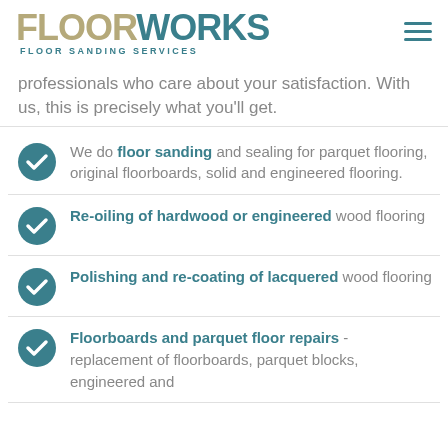FLOORWORKS - FLOOR SANDING SERVICES
professionals who care about your satisfaction. With us, this is precisely what you'll get.
We do floor sanding and sealing for parquet flooring, original floorboards, solid and engineered flooring.
Re-oiling of hardwood or engineered wood flooring
Polishing and re-coating of lacquered wood flooring
Floorboards and parquet floor repairs - replacement of floorboards, parquet blocks, engineered and